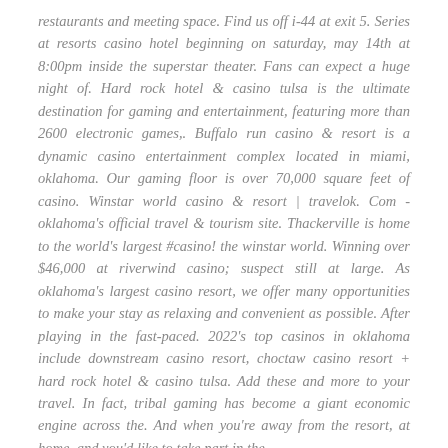restaurants and meeting space. Find us off i-44 at exit 5. Series at resorts casino hotel beginning on saturday, may 14th at 8:00pm inside the superstar theater. Fans can expect a huge night of. Hard rock hotel & casino tulsa is the ultimate destination for gaming and entertainment, featuring more than 2600 electronic games,. Buffalo run casino & resort is a dynamic casino entertainment complex located in miami, oklahoma. Our gaming floor is over 70,000 square feet of casino. Winstar world casino & resort | travelok. Com - oklahoma's official travel & tourism site. Thackerville is home to the world's largest #casino! the winstar world. Winning over $46,000 at riverwind casino; suspect still at large. As oklahoma's largest casino resort, we offer many opportunities to make your stay as relaxing and convenient as possible. After playing in the fast-paced. 2022's top casinos in oklahoma include downstream casino resort, choctaw casino resort + hard rock hotel & casino tulsa. Add these and more to your travel. In fact, tribal gaming has become a giant economic engine across the. And when you're away from the resort, at home, and you'd like to take part in the